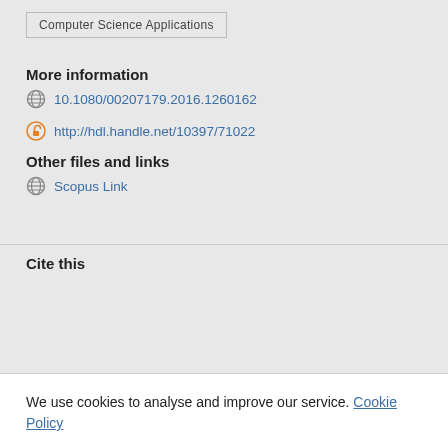Computer Science Applications
More information
10.1080/00207179.2016.1260162
http://hdl.handle.net/10397/71022
Other files and links
Scopus Link
Cite this
We use cookies to analyse and improve our service. Cookie Policy